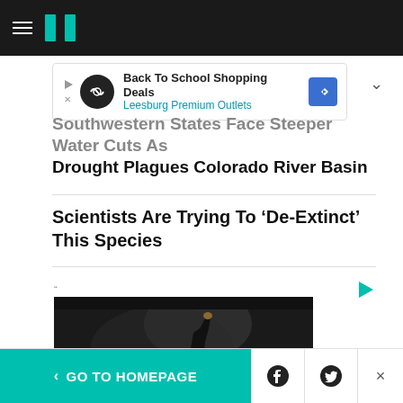HuffPost navigation header with hamburger menu and logo
[Figure (infographic): Advertisement banner: Back To School Shopping Deals – Leesburg Premium Outlets, with circular logo and blue diamond direction sign]
Southwestern States Face Steeper Water Cuts As Drought Plagues Colorado River Basin
Scientists Are Trying To ‘De-Extinct’ This Species
[Figure (photo): Black and white photo of a person raising their arm/hand at what appears to be a concert or event, with dramatic lighting]
< GO TO HOMEPAGE | Facebook share | Twitter share | Close